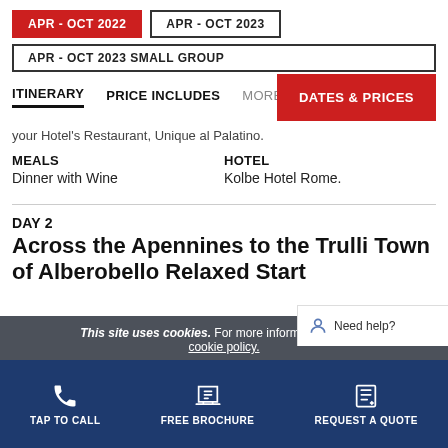APR - OCT 2022 | APR - OCT 2023 | APR - OCT 2023 SMALL GROUP
ITINERARY  PRICE INCLUDES  MORE +  DATES & PRICES
your Hotel's Restaurant, Unique al Palatino.
MEALS
Dinner with Wine
HOTEL
Kolbe Hotel Rome.
DAY 2
Across the Apennines to the Trulli Town of Alberobello Relaxed Start
This site uses cookies. For more information, please cookie policy.
TAP TO CALL  FREE BROCHURE  REQUEST A QUOTE